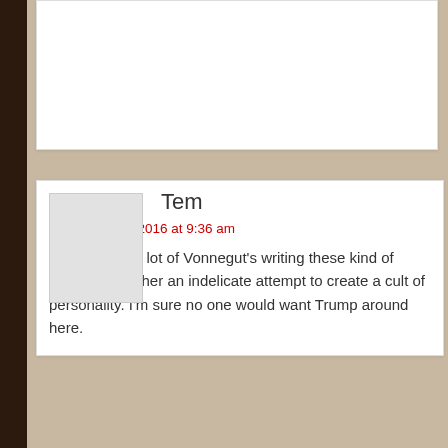Tem
December 24, 2016 at 9:36 am
While I liked a lot of Vonnegut's writing these kind of murals are rather an indelicate attempt to create a cult of personality. I'm sure no one would want Trump around here.
Eric M (American Dirt)
December 26, 2016 at 7:45 am
People are willing to create cults of personality out of anyone base. Creating a cult of personality isn't a particularly sophist